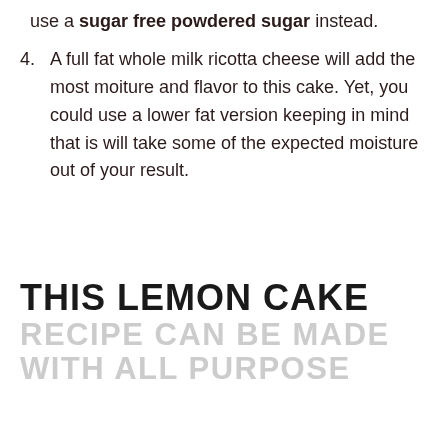use a sugar free powdered sugar instead.
4. A full fat whole milk ricotta cheese will add the most moiture and flavor to this cake. Yet, you could use a lower fat version keeping in mind that is will take some of the expected moisture out of your result.
THIS LEMON CAKE RECIPE CAN BE MADE WITH ALL PURPOSE